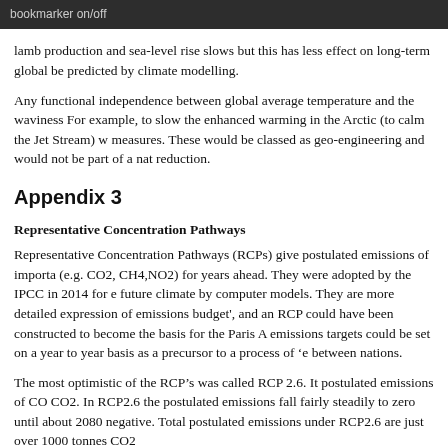bookmarker on/off
lamb production and sea-level rise slows but this has less effect on long-term global be predicted by climate modelling.
Any functional independence between global average temperature and the waviness For example, to slow the enhanced warming in the Arctic (to calm the Jet Stream) w measures. These would be classed as geo-engineering and would not be part of a nat reduction.
Appendix 3
Representative Concentration Pathways
Representative Concentration Pathways (RCPs) give postulated emissions of importa (e.g. CO2, CH4,NO2) for years ahead. They were adopted by the IPCC in 2014 for e future climate by computer models. They are more detailed expression of emissions budget', and an RCP could have been constructed to become the basis for the Paris A emissions targets could be set on a year to year basis as a precursor to a process of 'e between nations.
The most optimistic of the RCP’s was called RCP 2.6. It postulated emissions of CO CO2. In RCP2.6 the postulated emissions fall fairly steadily to zero until about 2080 negative. Total postulated emissions under RCP2.6 are just over 1000 tonnes CO2